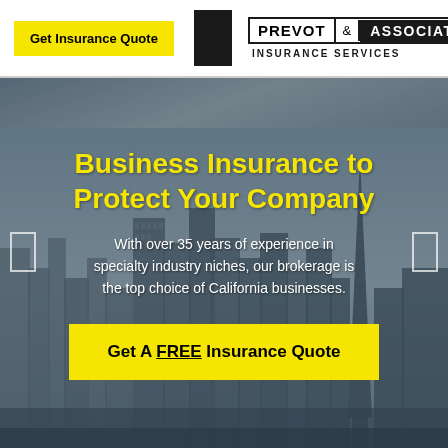Get Insurance Quote | PREVOT & ASSOCIATES INSURANCE SERVICES
[Figure (photo): San Francisco city skyline with tall skyscrapers including the Transamerica Pyramid, set against a dusk sky with grey-blue tones. Serves as hero background image.]
Business Insurance to Protect Your Company
With over 35 years of experience in specialty industry niches, our brokerage is the top choice of California businesses.
Get A FREE Insurance Quote